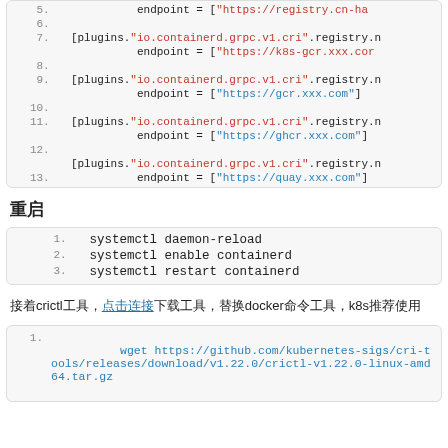[Figure (screenshot): Code block showing containerd config with plugin registry endpoints for lines 5-13]
重启
[Figure (screenshot): Code block with systemctl commands: daemon-reload, enable containerd, restart containerd]
接着crictl工具，点击连接下载工具，替换docker命令工具，k8s推荐使用
[Figure (screenshot): Code block with wget command for crictl download]